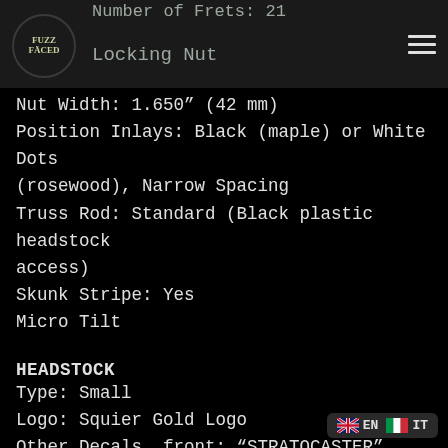Number of Frets: 21 | Locking Nut
Nut Width: 1.650" (42 mm)
Position Inlays: Black (maple) or White Dots (rosewood), Narrow Spacing
Truss Rod: Standard (Black plastic headstock access)
Skunk Stripe: Yes
Micro Tilt
HEADSTOCK
Type: Small
Logo: Squier Gold Logo
Other Decals, front: "STRATOCASTER", "BY FENDER"
Other Decals, back: "MADE IN MEXICO", Serial
ELECTRONICS
Bridge Pickup: Humbucking Pickup